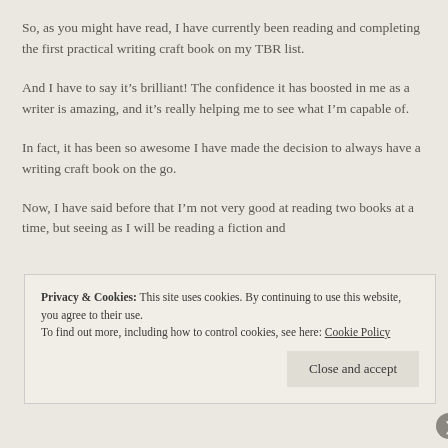So, as you might have read, I have currently been reading and completing the first practical writing craft book on my TBR list.
And I have to say it’s brilliant! The confidence it has boosted in me as a writer is amazing, and it’s really helping me to see what I’m capable of.
In fact, it has been so awesome I have made the decision to always have a writing craft book on the go.
Now, I have said before that I’m not very good at reading two books at a time, but seeing as I will be reading a fiction and
Privacy & Cookies: This site uses cookies. By continuing to use this website, you agree to their use.
To find out more, including how to control cookies, see here: Cookie Policy
Close and accept